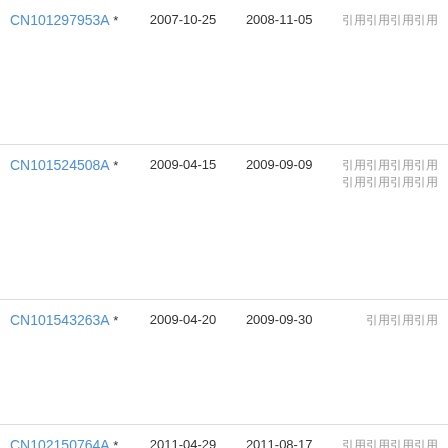| CN101297953A * | 2007-10-25 | 2008-11-05 | 引用引用引用引用 |
| CN101524508A * | 2009-04-15 | 2009-09-09 | 引用引用引用引用
引用引用引用引用 |
| CN101543263A * | 2009-04-20 | 2009-09-30 | 引用引用引用 |
| CN102150764A * | 2011-04-29 | 2011-08-17 | 引用引用引用引用 |